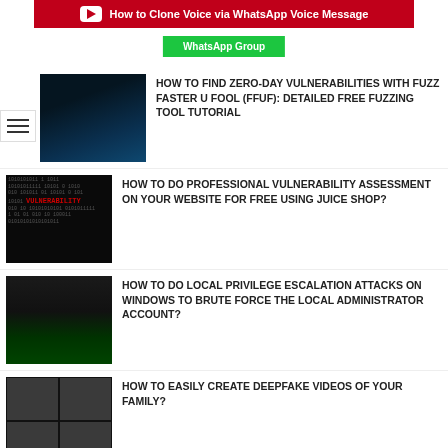[Figure (screenshot): YouTube banner with red background showing 'How to Clone Voice via WhatsApp Voice Message']
[Figure (screenshot): Green WhatsApp Group button]
[Figure (photo): Hacker with binary code background thumbnail]
HOW TO FIND ZERO-DAY VULNERABILITIES WITH FUZZ FASTER U FOOL (FFUF): DETAILED FREE FUZZING TOOL TUTORIAL
[Figure (photo): Binary code with red VULNERABILITY text thumbnail]
HOW TO DO PROFESSIONAL VULNERABILITY ASSESSMENT ON YOUR WEBSITE FOR FREE USING JUICE SHOP?
[Figure (photo): Keyboard and green circuit board thumbnail]
HOW TO DO LOCAL PRIVILEGE ESCALATION ATTACKS ON WINDOWS TO BRUTE FORCE THE LOCAL ADMINISTRATOR ACCOUNT?
[Figure (photo): Deepfake face grid thumbnail]
HOW TO EASILY CREATE DEEPFAKE VIDEOS OF YOUR FAMILY?